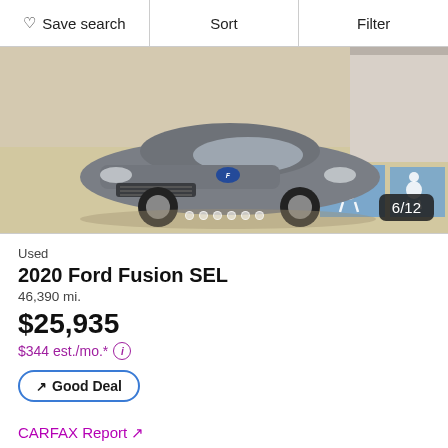Save search | Sort | Filter
[Figure (photo): Front view of a gray 2020 Ford Fusion SEL parked in a parking lot with a handicap parking space visible in the background. Image counter shows 6/12.]
Used
2020 Ford Fusion SEL
46,390 mi.
$25,935
$344 est./mo.*
Good Deal
CARFAX Report ↗
Starliner Premium Select...